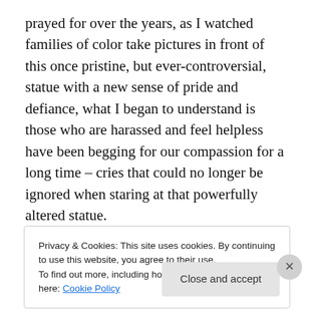prayed for over the years, as I watched families of color take pictures in front of this once pristine, but ever-controversial, statue with a new sense of pride and defiance, what I began to understand is those who are harassed and feel helpless have been begging for our compassion for a long time – cries that could no longer be ignored when staring at that powerfully altered statue.
[Figure (other): WordPress.com advertisement banner: 'Simplified pricing for everything you need.' with WordPress.com logo on a purple-to-blue gradient background.]
Privacy & Cookies: This site uses cookies. By continuing to use this website, you agree to their use.
To find out more, including how to control cookies, see here: Cookie Policy